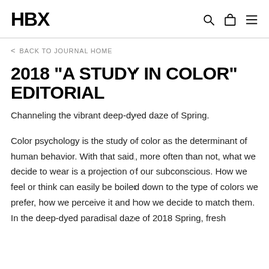HBX
< BACK TO JOURNAL HOME
2018 "A STUDY IN COLOR" EDITORIAL
Channeling the vibrant deep-dyed daze of Spring.
Color psychology is the study of color as the determinant of human behavior. With that said, more often than not, what we decide to wear is a projection of our subconscious. How we feel or think can easily be boiled down to the type of colors we prefer, how we perceive it and how we decide to match them. In the deep-dyed paradisal daze of 2018 Spring, fresh